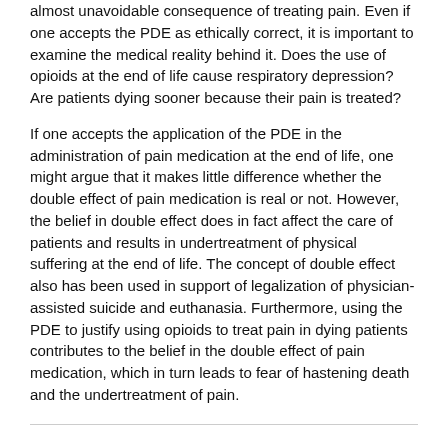almost unavoidable consequence of treating pain. Even if one accepts the PDE as ethically correct, it is important to examine the medical reality behind it. Does the use of opioids at the end of life cause respiratory depression? Are patients dying sooner because their pain is treated?
If one accepts the application of the PDE in the administration of pain medication at the end of life, one might argue that it makes little difference whether the double effect of pain medication is real or not. However, the belief in double effect does in fact affect the care of patients and results in undertreatment of physical suffering at the end of life. The concept of double effect also has been used in support of legalization of physician-assisted suicide and euthanasia. Furthermore, using the PDE to justify using opioids to treat pain in dying patients contributes to the belief in the double effect of pain medication, which in turn leads to fear of hastening death and the undertreatment of pain.
OPIOID-INDUCED RESPIRATORY DEPRESSION: FACTS AND MYTHS
The double effect of pain medication is often discussed in the